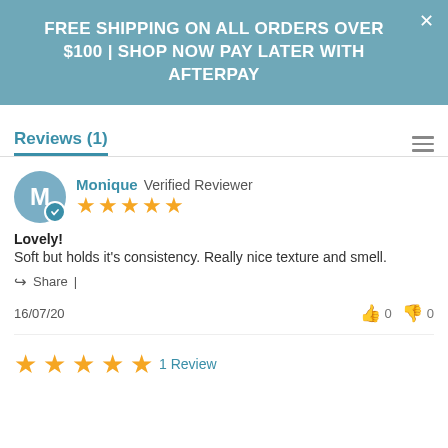FREE SHIPPING ON ALL ORDERS OVER $100 | SHOP NOW PAY LATER WITH AFTERPAY
Reviews (1)
Monique Verified Reviewer ★★★★★ Lovely! Soft but holds it's consistency. Really nice texture and smell. Share | 16/07/20 👍 0 👎 0
★★★★★ 1 Review